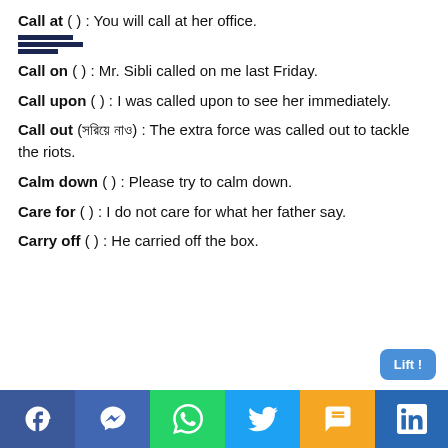Call at ( ) : You will call at her office.
Call on ( ) : Mr. Sibli called on me last Friday.
Call upon ( ) : I was called upon to see her immediately.
Call out (সরিয়ে নাও) : The extra force was called out to tackle the riots.
Calm down ( ) : Please try to calm down.
Care for ( ) : I do not care for what her father say.
Carry off ( ) : He carried off the box.
[Figure (other): Social media sharing footer bar with Facebook, Messenger, WhatsApp, Twitter, SMS, LinkedIn icons]